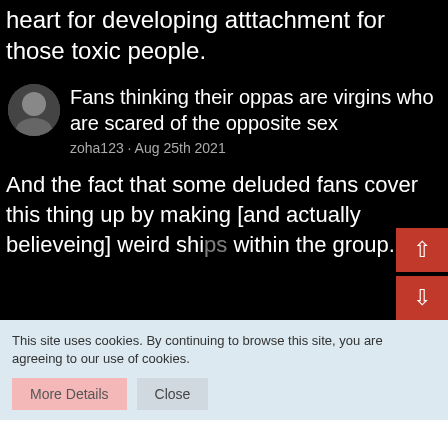heart for developing atttachment for those toxic people.
Fans thinking their oppas are virgins who are scared of the opposite sex
zoha123 · Aug 25th 2021
And the fact that some deluded fans cover this thing up by making [and actually believeing] weird ships within the group.
This site uses cookies. By continuing to browse this site, you are agreeing to our use of cookies.